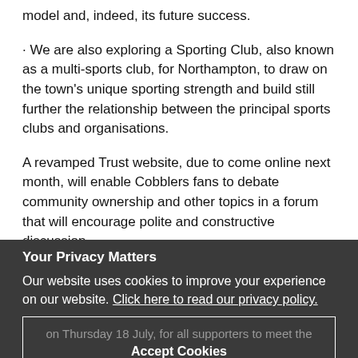model and, indeed, its future success.
· We are also exploring a Sporting Club, also known as a multi-sports club, for Northampton, to draw on the town's unique sporting strength and build still further the relationship between the principal sports clubs and organisations.
A revamped Trust website, due to come online next month, will enable Cobblers fans to debate community ownership and other topics in a forum that will encourage polite and constructive discussion.
And as part of our commitment to more effective engagement, we will also be holding an open forum on Thursday 18 July, for all supporters to meet the Trust board and discuss our plans.
Your Privacy Matters
Our website uses cookies to improve your experience on our website. Click here to read our privacy policy.
Accept Cookies